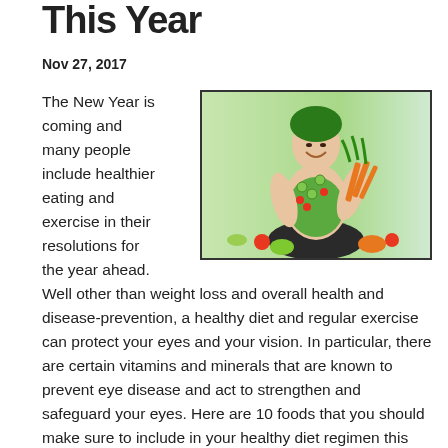This Year
Nov 27, 2017
The New Year is coming and many people include healthier eating and exercise in their resolutions for the year ahead.
[Figure (photo): Woman decorated with vegetables and greens holding a bunch of fresh produce, posing on a green background]
Well other than weight loss and overall health and disease-prevention, a healthy diet and regular exercise can protect your eyes and your vision. In particular, there are certain vitamins and minerals that are known to prevent eye disease and act to strengthen and safeguard your eyes. Here are 10 foods that you should make sure to include in your healthy diet regimen this coming year and for the rest of your life.